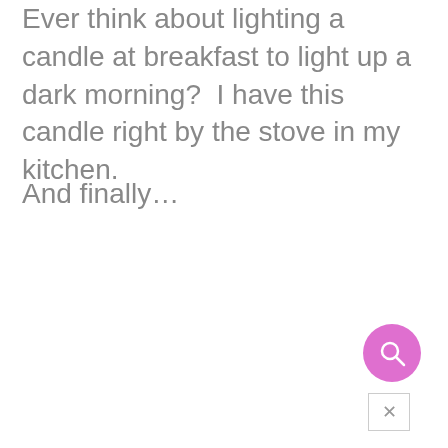Ever think about lighting a candle at breakfast to light up a dark morning?  I have this candle right by the stove in my kitchen.
And finally…
[Figure (other): Pink heart (like/favorite) button with count label '80' above it, and a pink circular search button below, and a small close (x) button at bottom right.]